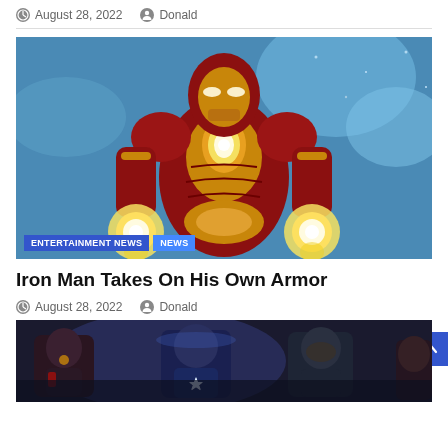August 28, 2022  Donald
[Figure (illustration): Comic book illustration of Iron Man in gold and red armor, arms outstretched with glowing repulsor blasts in both hands, against a blue background. Badges overlay the bottom: ENTERTAINMENT NEWS | NEWS]
Iron Man Takes On His Own Armor
August 28, 2022  Donald
[Figure (photo): Screenshot of Marvel's Avengers video game showing characters including a man in red and gold armor (Iron Man), Captain America with star on chest, and other Avengers in a cinematic scene.]